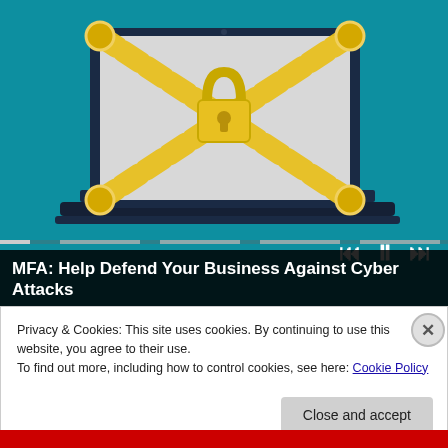[Figure (screenshot): Video thumbnail showing a laptop computer with a large golden chain in an X pattern across the screen and a padlock icon in the center, on a teal/blue background. Video playback controls (rewind, pause, fast-forward) visible at bottom right. A progress bar is shown at the bottom of the video.]
MFA: Help Defend Your Business Against Cyber Attacks
Privacy & Cookies: This site uses cookies. By continuing to use this website, you agree to their use.
To find out more, including how to control cookies, see here: Cookie Policy
Close and accept